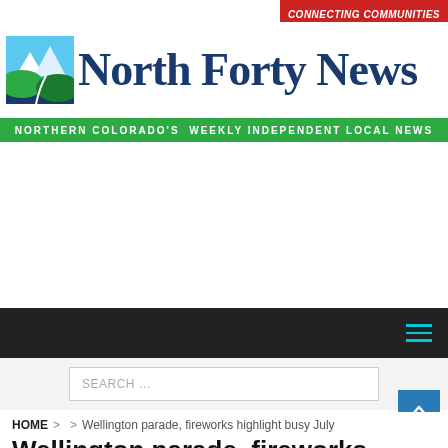[Figure (logo): North Forty News logo with mountain/landscape icon, text 'North Forty News' in dark blue serif font, red badge 'CONNECTING COMMUNITIES', and green tagline bar 'NORTHERN COLORADO'S WEEKLY INDEPENDENT LOCAL NEWS']
SEARCH ...
HOME > > Wellington parade, fireworks highlight busy July
Wellington parade, fireworks highlight busy July